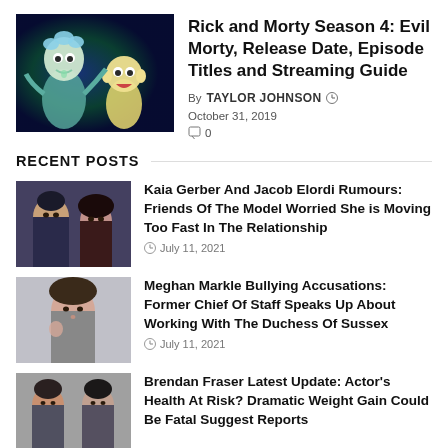[Figure (illustration): Rick and Morty animated characters on dark blue/green background]
Rick and Morty Season 4: Evil Morty, Release Date, Episode Titles and Streaming Guide
By TAYLOR JOHNSON  October 31, 2019  0
RECENT POSTS
[Figure (photo): Photo of Kaia Gerber and Jacob Elordi, numbered 1]
Kaia Gerber And Jacob Elordi Rumours: Friends Of The Model Worried She is Moving Too Fast In The Relationship
July 11, 2021
[Figure (photo): Photo of Meghan Markle, numbered 2]
Meghan Markle Bullying Accusations: Former Chief Of Staff Speaks Up About Working With The Duchess Of Sussex
July 11, 2021
[Figure (photo): Photo of Brendan Fraser, numbered 3]
Brendan Fraser Latest Update: Actor's Health At Risk? Dramatic Weight Gain Could Be Fatal Suggest Reports